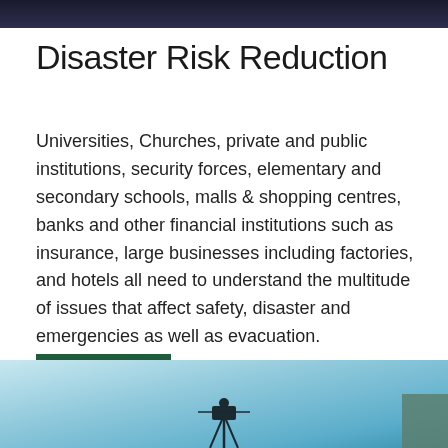[Figure (photo): Dark banner image at top of page]
Disaster Risk Reduction
Universities, Churches, private and public institutions, security forces, elementary and secondary schools, malls & shopping centres, banks and other financial institutions such as insurance, large businesses including factories, and hotels all need to understand the multitude of issues that affect safety, disaster and emergencies as well as evacuation.
Read more
[Figure (photo): Light blue sky photo with a dark silhouette of a camera or equipment, partially visible at bottom of page]